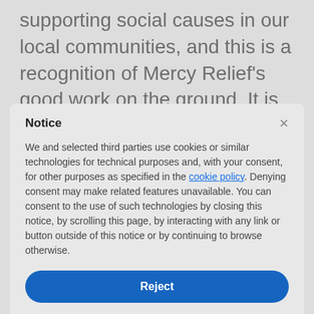supporting social causes in our local communities, and this is a recognition of Mercy Relief's good work on the ground. It is also our little way of giving back to the countries that have geographically sheltered Singapore from
Notice
We and selected third parties use cookies or similar technologies for technical purposes and, with your consent, for other purposes as specified in the cookie policy. Denying consent may make related features unavailable. You can consent to the use of such technologies by closing this notice, by scrolling this page, by interacting with any link or button outside of this notice or by continuing to browse otherwise.
Reject